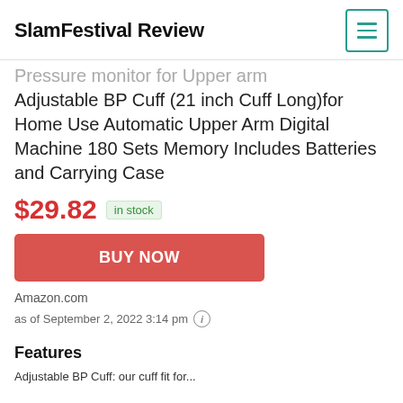SlamFestival Review
Pressure Monitor for Upper Arm Adjustable BP Cuff (21 inch Cuff Long)for Home Use Automatic Upper Arm Digital Machine 180 Sets Memory Includes Batteries and Carrying Case
$29.82  in stock
BUY NOW
Amazon.com
as of September 2, 2022 3:14 pm
Features
Adjustable BP Cuff: our cuff fit for...